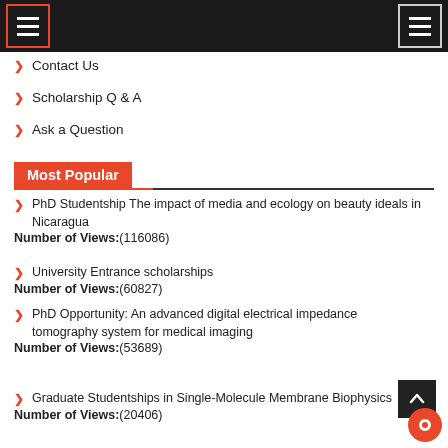Navigation header with hamburger menus
Contact Us
Scholarship Q & A
Ask a Question
Most Popular
PhD Studentship The impact of media and ecology on beauty ideals in Nicaragua
Number of Views:(116086)
University Entrance scholarships
Number of Views:(60827)
PhD Opportunity: An advanced digital electrical impedance tomography system for medical imaging
Number of Views:(53689)
Graduate Studentships in Single-Molecule Membrane Biophysics
Number of Views:(20406)